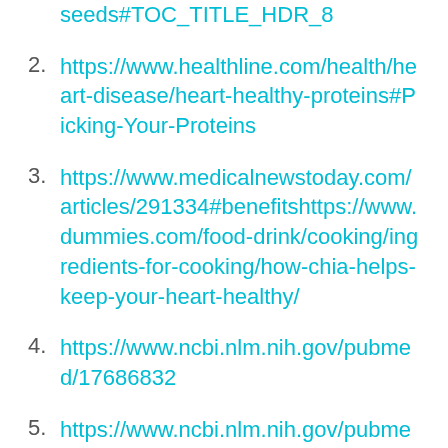seeds#TOC_TITLE_HDR_8
2. https://www.healthline.com/health/heart-disease/heart-healthy-proteins#Picking-Your-Proteins
3. https://www.medicalnewstoday.com/articles/291334#benefitshttps://www.dummies.com/food-drink/cooking/ingredients-for-cooking/how-chia-helps-keep-your-heart-healthy/
4. https://www.ncbi.nlm.nih.gov/pubmed/17686832
5. https://www.ncbi.nlm.nih.gov/pubmed/25403867